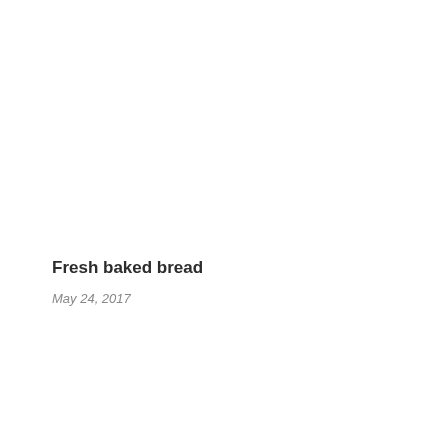Fresh baked bread
May 24, 2017